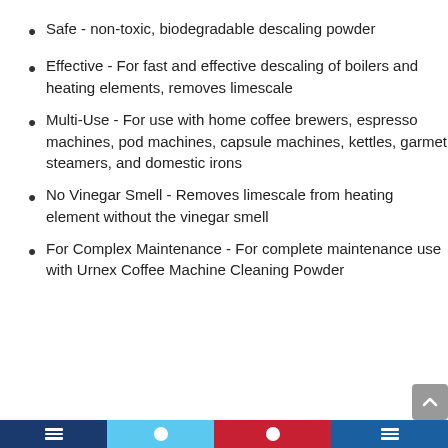Safe - non-toxic, biodegradable descaling powder
Effective - For fast and effective descaling of boilers and heating elements, removes limescale
Multi-Use - For use with home coffee brewers, espresso machines, pod machines, capsule machines, kettles, garmet steamers, and domestic irons
No Vinegar Smell - Removes limescale from heating element without the vinegar smell
For Complex Maintenance - For complete maintenance use with Urnex Coffee Machine Cleaning Powder